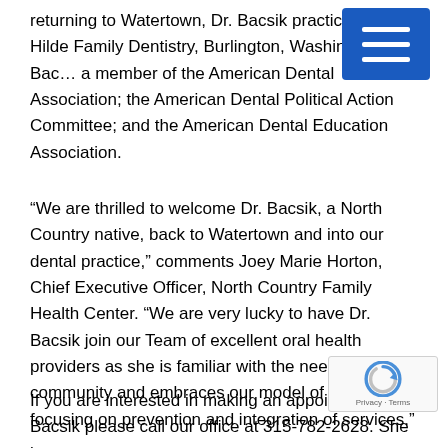returning to Watertown, Dr. Bacsik practiced at Hilde Family Dentistry, Burlington, Washington. Dr. Bac… a member of the American Dental Association; the American Dental Political Action Committee; and the American Dental Education Association.
“We are thrilled to welcome Dr. Bacsik, a North Country native, back to Watertown and into our dental practice,” comments Joey Marie Horton, Chief Executive Officer, North Country Family Health Center. “We are very lucky to have Dr. Bacsik join our Team of excellent oral health providers as she is familiar with the needs of our community and embraces our model of care focusing on prevention and integration of services.”
If you are interested in making an appointment w… Bacsik please call our office at 315-782-2628. She is